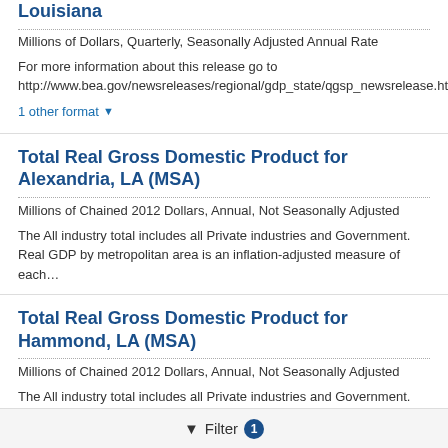Millions of Dollars, Quarterly, Seasonally Adjusted Annual Rate
For more information about this release go to http://www.bea.gov/newsreleases/regional/gdp_state/qgsp_newsrelease.htm
1 other format ▼
Total Real Gross Domestic Product for Alexandria, LA (MSA)
Millions of Chained 2012 Dollars, Annual, Not Seasonally Adjusted
The All industry total includes all Private industries and Government. Real GDP by metropolitan area is an inflation-adjusted measure of each…
Total Real Gross Domestic Product for Hammond, LA (MSA)
Millions of Chained 2012 Dollars, Annual, Not Seasonally Adjusted
The All industry total includes all Private industries and Government. Real
Filter 1